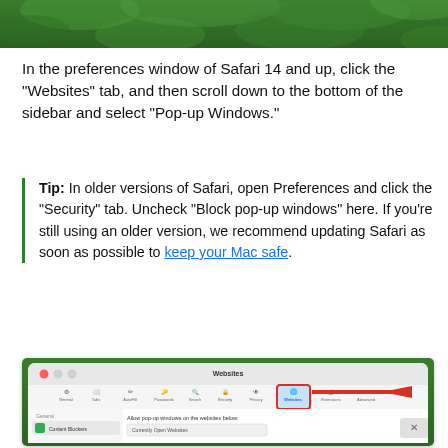[Figure (screenshot): Top portion of a screenshot showing green foliage background, partially visible]
In the preferences window of Safari 14 and up, click the “Websites” tab, and then scroll down to the bottom of the sidebar and select “Pop-up Windows.”
Tip: In older versions of Safari, open Preferences and click the “Security” tab. Uncheck “Block pop-up windows” here. If you’re still using an older version, we recommend updating Safari as soon as possible to keep your Mac safe.
[Figure (screenshot): Safari Preferences window showing the Websites tab selected and highlighted with a red box and red arrow, with Content Blockers visible in the sidebar and 'Allow pop-up windows on the websites below:' text visible]